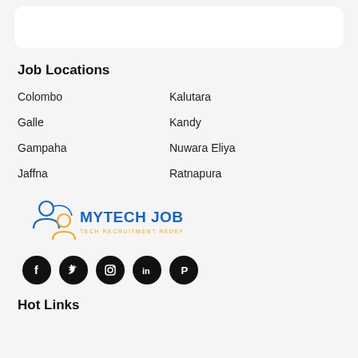Job Locations
Colombo
Kalutara
Galle
Kandy
Gampaha
Nuwara Eliya
Jaffna
Ratnapura
[Figure (logo): MyTech Jobs logo - people icons in blue and yellow with text MYTECH JOBS and tagline TECH RECRUITMENT REDEFINED]
[Figure (infographic): Social media icons row: Facebook, Twitter, Instagram, LinkedIn, Pinterest - black circles]
Hot Links